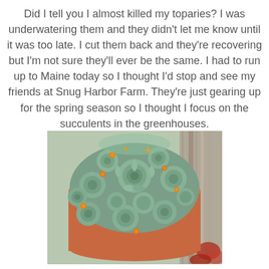Did I tell you I almost killed my toparies?  I was underwatering them and they didn't let me know until it was too late.  I cut them back and they're recovering but I'm not sure they'll ever be the same.  I had to run up to Maine today so I thought I'd stop and see my friends at Snug Harbor Farm.  They're just gearing up for the spring season so I thought I focus on the succulents in the greenhouses.
[Figure (photo): A terra cotta pot filled with blue-green succulent rosettes (echeveria) and small orange flower buds, placed against a weathered wooden fence post with red foliage visible at lower right.]
Blue and orange